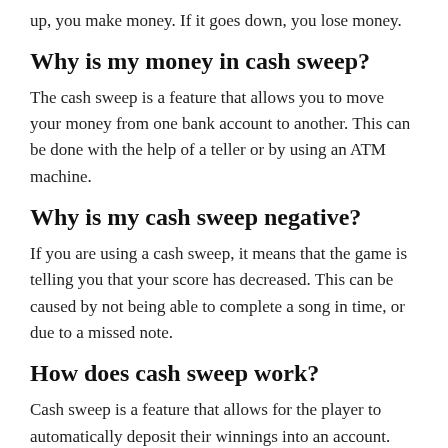up, you make money. If it goes down, you lose money.
Why is my money in cash sweep?
The cash sweep is a feature that allows you to move your money from one bank account to another. This can be done with the help of a teller or by using an ATM machine.
Why is my cash sweep negative?
If you are using a cash sweep, it means that the game is telling you that your score has decreased. This can be caused by not being able to complete a song in time, or due to a missed note.
How does cash sweep work?
Cash sweep is a feature that allows for the player to automatically deposit their winnings into an account. This